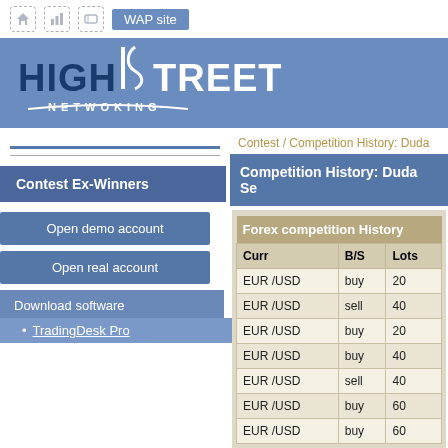WAP site
[Figure (logo): HighStreet Netwoking logo with dark blue and white text on blue banner background]
Contest Ex-Winners
Open demo account
Open real account
Download software
TradingDesk Pro
Contest / Competition History: Duda
Competition History: Duda Se
| Curr | B/S | Lots |
| --- | --- | --- |
| EUR /USD | buy | 20 |
| EUR /USD | sell | 40 |
| EUR /USD | buy | 20 |
| EUR /USD | buy | 40 |
| EUR /USD | sell | 40 |
| EUR /USD | buy | 60 |
| EUR /USD | buy | 60 |